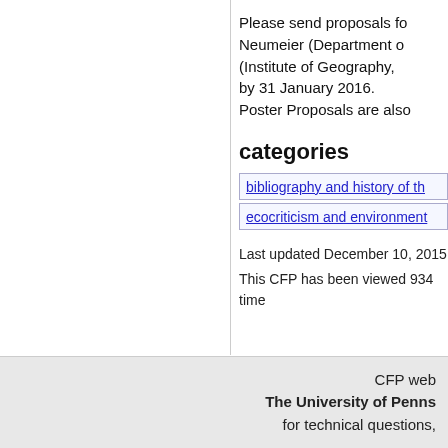Please send proposals fo... Neumeier (Department o... (Institute of Geography,... by 31 January 2016. Poster Proposals are also...
categories
bibliography and history of th...
ecocriticism and environment...
Last updated December 10, 2015
This CFP has been viewed 934 time...
CFP web... The University of Penns... for technical questions,